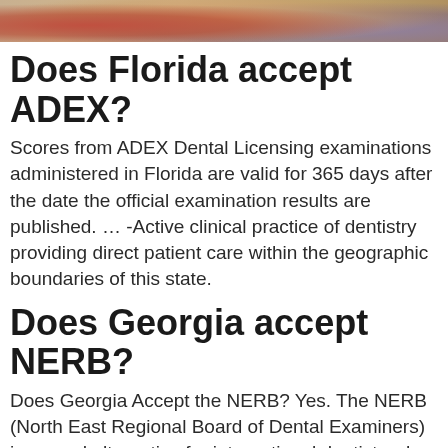[Figure (photo): Partial photo strip at top of page showing people, cropped to a narrow horizontal band]
Does Florida accept ADEX?
Scores from ADEX Dental Licensing examinations administered in Florida are valid for 365 days after the date the official examination results are published. … -Active clinical practice of dentistry providing direct patient care within the geographic boundaries of this state.
Does Georgia accept NERB?
Does Georgia Accept the NERB? Yes. The NERB (North East Regional Board of Dental Examiners) is a good alternative for international dentists who do not have the CE (Continuing Education) requirements to